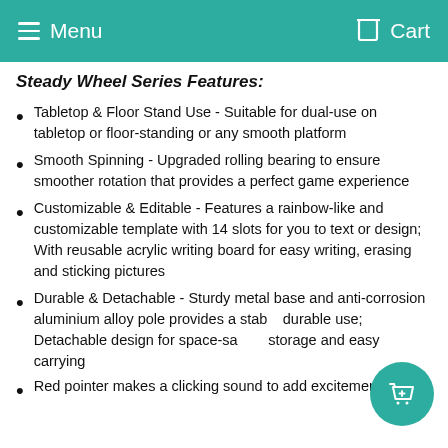Menu   Cart
Steady Wheel Series Features:
Tabletop & Floor Stand Use - Suitable for dual-use on tabletop or floor-standing or any smooth platform
Smooth Spinning - Upgraded rolling bearing to ensure smoother rotation that provides a perfect game experience
Customizable & Editable - Features a rainbow-like and customizable template with 14 slots for you to text or design; With reusable acrylic writing board for easy writing, erasing and sticking pictures
Durable & Detachable - Sturdy metal base and anti-corrosion aluminium alloy pole provides a stable and durable use; Detachable design for space-saving storage and easy carrying
Red pointer makes a clicking sound to add excitement